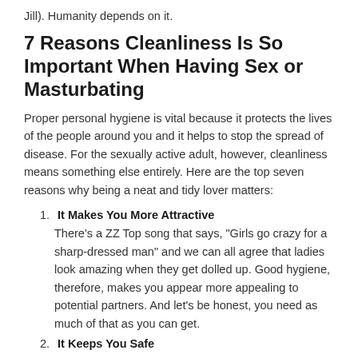Jill). Humanity depends on it.
7 Reasons Cleanliness Is So Important When Having Sex or Masturbating
Proper personal hygiene is vital because it protects the lives of the people around you and it helps to stop the spread of disease. For the sexually active adult, however, cleanliness means something else entirely. Here are the top seven reasons why being a neat and tidy lover matters:
1. It Makes You More Attractive
There’s a ZZ Top song that says, “Girls go crazy for a sharp-dressed man” and we can all agree that ladies look amazing when they get dolled up. Good hygiene, therefore, makes you appear more appealing to potential partners. And let’s be honest, you need as much of that as you can get.
2. It Keeps You Safe